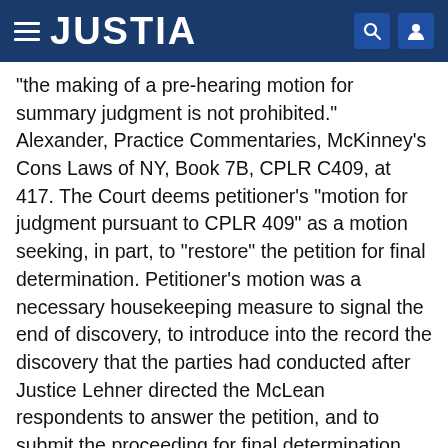JUSTIA
"the making of a pre-hearing motion for summary judgment is not prohibited." Alexander, Practice Commentaries, McKinney's Cons Laws of NY, Book 7B, CPLR C409, at 417. The Court deems petitioner's "motion for judgment pursuant to CPLR 409" as a motion seeking, in part, to "restore" the petition for final determination. Petitioner's motion was a necessary housekeeping measure to signal the end of discovery, to introduce into the record the discovery that the parties had conducted after Justice Lehner directed the McLean respondents to answer the petition, and to submit the proceeding for final determination. The petition had remained undecided as pending until petitioner brought the instant motion. The instant motion and cross motion and the proceeding were assigned to this Court because Justice Lehner had retired.